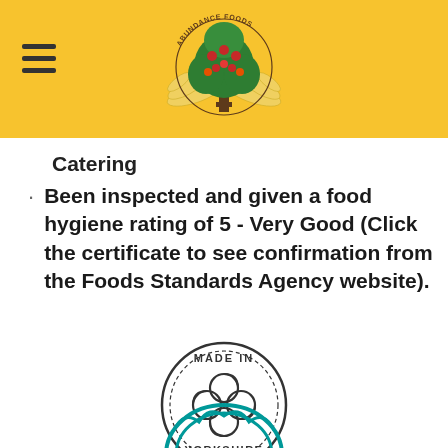[Figure (logo): Abundance Foods logo with a tree bearing red fruit and wings, circular text reading ABUNDANCE FOODS, on a yellow banner header]
Catering
Been inspected and given a food hygiene rating of 5 - Very Good (Click the certificate to see confirmation from the Foods Standards Agency website).
[Figure (logo): Made in Yorkshire - Food & Drink circular stamp logo with a quatrefoil/clover symbol in the center]
[Figure (logo): Partial teal/turquoise badge or seal visible at the bottom of the page]